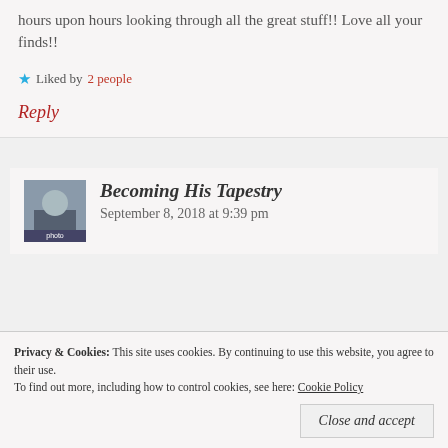hours upon hours looking through all the great stuff!! Love all your finds!!
Liked by 2 people
Reply
Becoming His Tapestry
September 8, 2018 at 9:39 pm
Privacy & Cookies: This site uses cookies. By continuing to use this website, you agree to their use. To find out more, including how to control cookies, see here: Cookie Policy
Close and accept